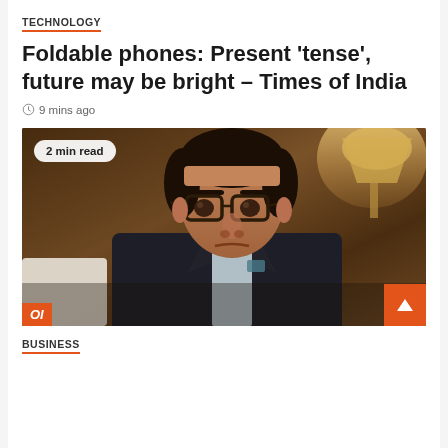TECHNOLOGY
Foldable phones: Present ‘tense’, future may be bright – Times of India
9 mins ago
[Figure (photo): Photo of a man wearing glasses and a dark suit, seated indoors with a warm lamp in the background. A '2 min read' badge overlays the top-left. A TOI logo badge appears at the bottom-left, and an orange up-arrow button at the bottom-right.]
BUSINESS